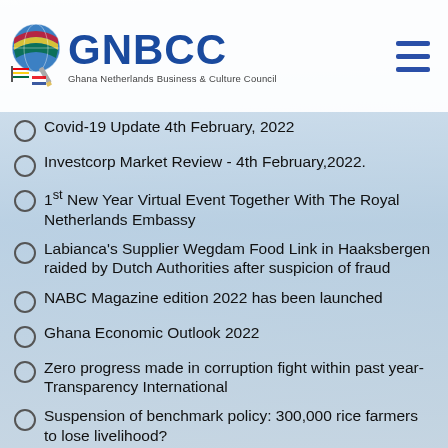[Figure (logo): GNBCC Ghana Netherlands Business & Culture Council logo with circular globe/flag icon and text]
Covid-19 Update 4th February, 2022
Investcorp Market Review - 4th February,2022.
1st New Year Virtual Event Together With The Royal Netherlands Embassy
Labianca's Supplier Wegdam Food Link in Haaksbergen raided by Dutch Authorities after suspicion of fraud
NABC Magazine edition 2022 has been launched
Ghana Economic Outlook 2022
Zero progress made in corruption fight within past year- Transparency International
Suspension of benchmark policy: 300,000 rice farmers to lose livelihood?
Highlights debat 'Staat van het Consulaire'
Licensed fishing vessels unmasked as illegal Chinese fronts